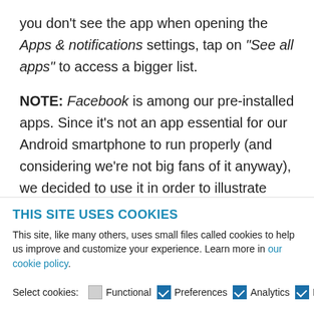you don't see the app when opening the Apps & notifications settings, tap on "See all apps" to access a bigger list.
NOTE: Facebook is among our pre-installed apps. Since it's not an app essential for our Android smartphone to run properly (and considering we're not big fans of it anyway), we decided to use it in order to illustrate how disabling an app works. However, keep in mind
THIS SITE USES COOKIES
This site, like many others, uses small files called cookies to help us improve and customize your experience. Learn more in our cookie policy.
Select cookies: Functional Preferences Analytics Marketing OK